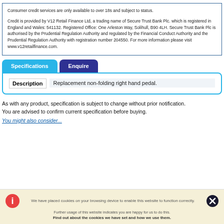Consumer credit services are only available to over 18s and subject to status.
Credit is provided by V12 Retail Finance Ltd, a trading name of Secure Trust Bank Plc. which is registered in England and Wales: 541132. Registered Office: One Arleston Way, Solihull, B90 4LH. Secure Trust Bank Plc is authorised by the Prudential Regulation Authority and regulated by the Financial Conduct Authority and the Prudential Regulation Authority with registration number 204550. For more information please visit www.v12retailfinance.com.
Specifications
Enquire
| Description |  |
| --- | --- |
| Replacement non-folding right hand pedal. |  |
As with any product, specification is subject to change without prior notification. You are advised to confirm current specification before buying.
You might also consider...
We have placed cookies on your browsing device to enable this website to function correctly.
Further usage of this website indicates you are happy for us to do this.
Find out about the cookies we have set and how we use them.